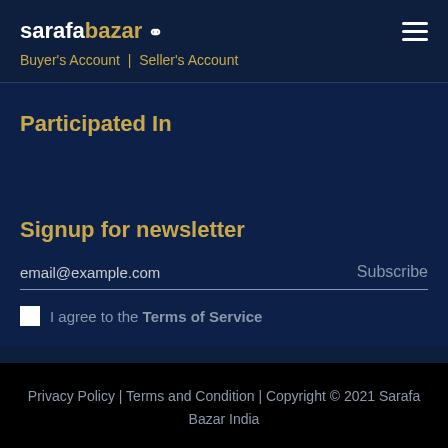sarafabazar | Buyer's Account | Seller's Account
Participated In
Signup for newsletter
email@example.com
Subscribe
I agree to the Terms of Service
Privacy Policy | Terms and Condition | Copyright © 2021 Sarafa Bazar India